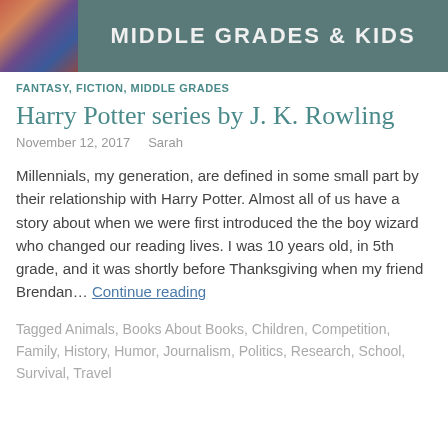[Figure (illustration): Banner image with a decorative woven/textile photo on the left and the text 'Middle Grades & Kids' on a teal/dark background]
FANTASY, FICTION, MIDDLE GRADES
Harry Potter series by J. K. Rowling
November 12, 2017   Sarah
Millennials, my generation, are defined in some small part by their relationship with Harry Potter. Almost all of us have a story about when we were first introduced the the boy wizard who changed our reading lives. I was 10 years old, in 5th grade, and it was shortly before Thanksgiving when my friend Brendan… Continue reading
Tagged Animals, Books About Books, Children, Competition, Family, History, Humor, Journalism, Politics, Research, School, Survival, Travel